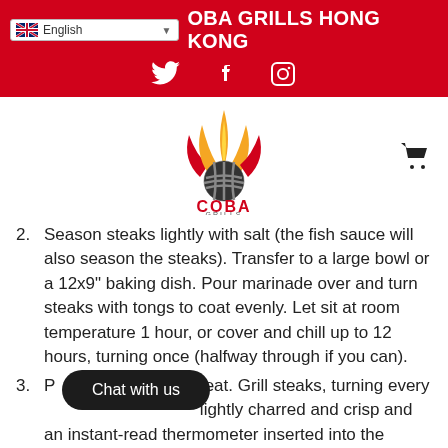COBA GRILLS HONG KONG
[Figure (logo): COBA Grills logo with stylized flame and grill mark]
2. Season steaks lightly with salt (the fish sauce will also season the steaks). Transfer to a large bowl or a 12x9" baking dish. Pour marinade over and turn steaks with tongs to coat evenly. Let sit at room temperature 1 hour, or cover and chill up to 12 hours, turning once (halfway through if you can).
3. [Chat button overlay] high heat. Grill steaks, turning every [obscured] lightly charred and crisp and an instant-read thermometer inserted into the thickest [continues]